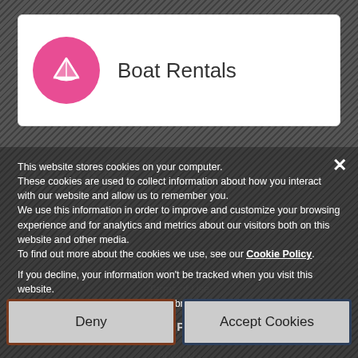[Figure (logo): Pink circle with white paper boat icon — Boat Rentals brand logo]
Boat Rentals
+ LOCATION
All Rights Reserved
Terms of Use
Cookies Policy
Privacy Policy
About Us
Offered By: Rob Perry Marine Ltd
This website stores cookies on your computer. These cookies are used to collect information about how you interact with our website and allow us to remember you. We use this information in order to improve and customize your browsing experience and for analytics and metrics about our visitors both on this website and other media. To find out more about the cookies we use, see our Cookie Policy.
If you decline, your information won't be tracked when you visit this website. A single cookie will be used in your browser to remember your preference not to be tracked.
Deny
Accept Cookies